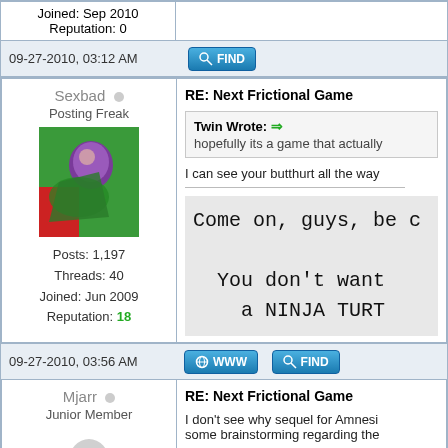Joined: Sep 2010
Reputation: 0
09-27-2010, 03:12 AM
Sexbad
Posting Freak
Posts: 1,197
Threads: 40
Joined: Jun 2009
Reputation: 18
RE: Next Frictional Game
Twin Wrote: hopefully its a game that actually
I can see your butthurt all the way
Come on, guys, be c
You don't want
a NINJA TURT
09-27-2010, 03:56 AM
Mjarr
Junior Member
RE: Next Frictional Game
I don't see why sequel for Amnesi some brainstorming regarding the